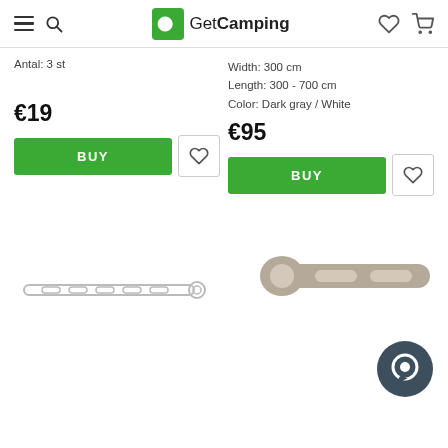GetCamping
Antal: 3 st
Width: 300 cm
Length: 300 - 700 cm
Color: Dark gray / White
€19
€95
[Figure (screenshot): BUY button (green) and heart/wishlist button for first product]
[Figure (screenshot): BUY button (green) and heart/wishlist button for second product]
[Figure (photo): Silver elongated tent peg with multiple slots]
[Figure (photo): Gray/beige wider tent peg with handle and two oval slots]
[Figure (photo): Dark gray circular chat support button with circle icon]